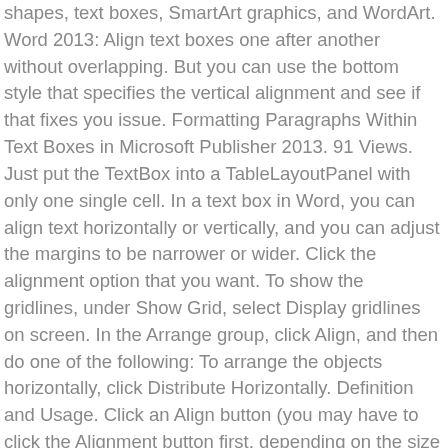shapes, text boxes, SmartArt graphics, and WordArt. Word 2013: Align text boxes one after another without overlapping. But you can use the bottom style that specifies the vertical alignment and see if that fixes you issue. Formatting Paragraphs Within Text Boxes in Microsoft Publisher 2013. 91 Views. Just put the TextBox into a TableLayoutPanel with only one single cell. In a text box in Word, you can align text horizontally or vertically, and you can adjust the margins to be narrower or wider. Click the alignment option that you want. To show the gridlines, under Show Grid, select Display gridlines on screen. In the Arrange group, click Align, and then do one of the following: To arrange the objects horizontally, click Distribute Horizontally. Definition and Usage. Click an Align button (you may have to click the Alignment button first, depending on the size of your screen). Text boxes and most shapes can include text in them. One commonly used object in Word 2013 is the text box. If Align Selected Objects is not available. Click the outer edge of the text box to select it. Click